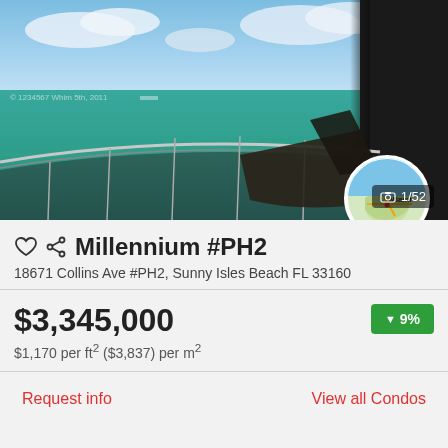[Figure (photo): Balcony view of turquoise ocean and sky from a high-rise condominium, with a lounge chair visible. Photo counter badge showing 1/52 in bottom right. Circular map thumbnail showing Miami in upper right of photo.]
Millennium #PH2
18671 Collins Ave #PH2, Sunny Isles Beach FL 33160
$3,345,000
$1,170 per ft² ($3,837) per m²
▼ 9%
Request info
View all Condos